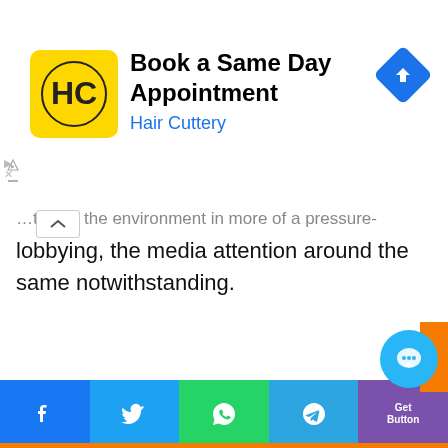[Figure (screenshot): Hair Cuttery advertisement banner with yellow logo, title 'Book a Same Day Appointment', subtitle 'Hair Cuttery', and a blue navigation diamond icon on the right]
…lobbying, the media attention around the same notwithstanding.
[Figure (screenshot): Second advertisement block area (white/blank)]
[Figure (screenshot): Social share bar at bottom with Facebook, Twitter, WhatsApp, Telegram, and GetButton icons]